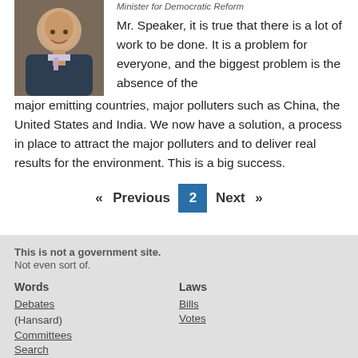Minister for Democratic Reform
Mr. Speaker, it is true that there is a lot of work to be done. It is a problem for everyone, and the biggest problem is the absence of the major emitting countries, major polluters such as China, the United States and India. We now have a solution, a process in place to attract the major polluters and to deliver real results for the environment. This is a big success.
« Previous  2  Next »
This is not a government site.
Not even sort of.
Words
Debates (Hansard)
Committees
Search
Alerts
Laws
Bills
Votes